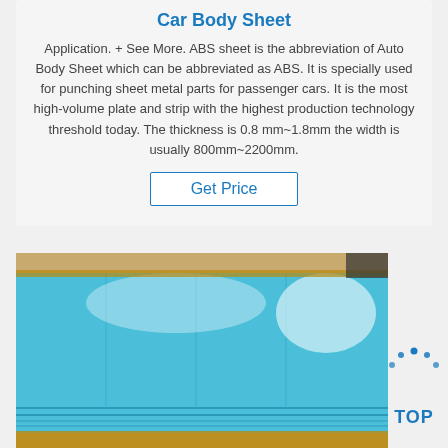Car Body Sheet
Application. + See More. ABS sheet is the abbreviation of Auto Body Sheet which can be abbreviated as ABS. It is specially used for punching sheet metal parts for passenger cars. It is the most high-volume plate and strip with the highest production technology threshold today. The thickness is 0.8 mm~1.8mm the width is usually 800mm~2200mm.
Get Price
[Figure (photo): Blue metallic car body sheet (ABS sheet) stacked, showing shiny blue protective film surface, viewed from an angle in a warehouse setting.]